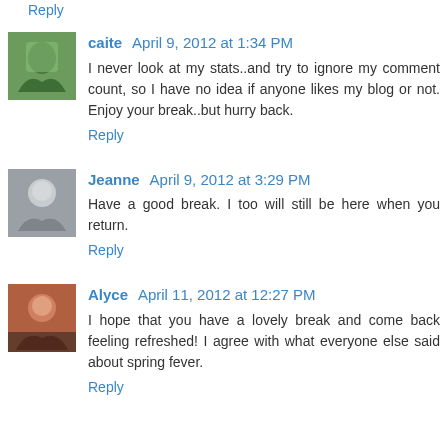Reply
caite April 9, 2012 at 1:34 PM
I never look at my stats..and try to ignore my comment count, so I have no idea if anyone likes my blog or not. Enjoy your break..but hurry back.
Reply
Jeanne April 9, 2012 at 3:29 PM
Have a good break. I too will still be here when you return.
Reply
Alyce April 11, 2012 at 12:27 PM
I hope that you have a lovely break and come back feeling refreshed! I agree with what everyone else said about spring fever.
Reply